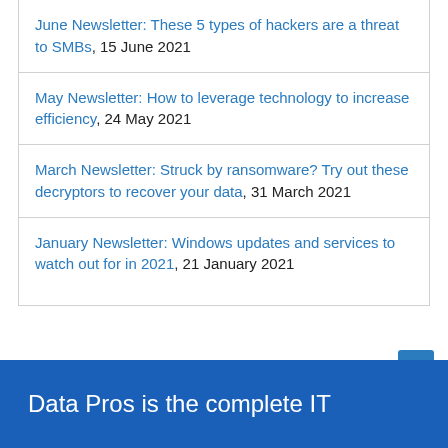June Newsletter: These 5 types of hackers are a threat to SMBs, 15 June 2021
May Newsletter: How to leverage technology to increase efficiency, 24 May 2021
March Newsletter: Struck by ransomware? Try out these decryptors to recover your data, 31 March 2021
January Newsletter: Windows updates and services to watch out for in 2021, 21 January 2021
Data Pros is the complete IT